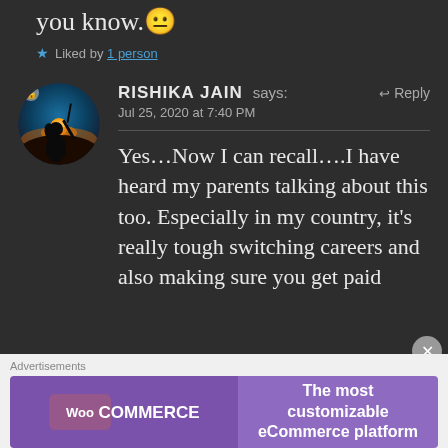you know.🙂
★ Liked by 1 person
RISHIKA JAIN says:  ↩ Reply
Jul 25, 2020 at 7:40 PM
Yes...Now I can recall....I have heard my parents talking about this too. Especially in my country, it's really tough switching careers and also making sure you get paid
Advertisements
[Figure (screenshot): WooCommerce advertisement banner: purple background with WooCommerce logo on left and text 'The most customizable eCommerce platform' on right]